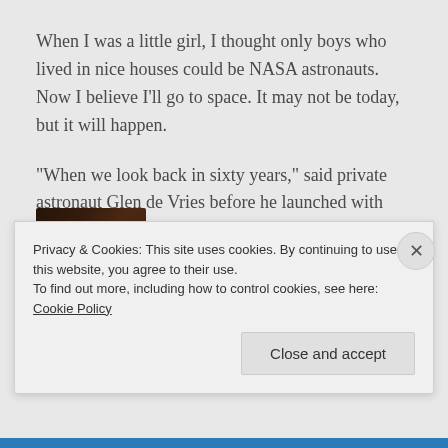When I was a little girl, I thought only boys who lived in nice houses could be NASA astronauts. Now I believe I'll go to space. It may not be today, but it will happen.
“When we look back in sixty years,” said private astronaut Glen de Vries before he launched with Shatner, “we will say 2021 was the year that space opened up.” Space business is booming. Save your money: as technology advances, off-Earth travel will be affordable soon.
[Figure (photo): Partial view of a person's hair/head, dark tones, cropped at bottom of content area]
Privacy & Cookies: This site uses cookies. By continuing to use this website, you agree to their use.
To find out more, including how to control cookies, see here: Cookie Policy
Close and accept